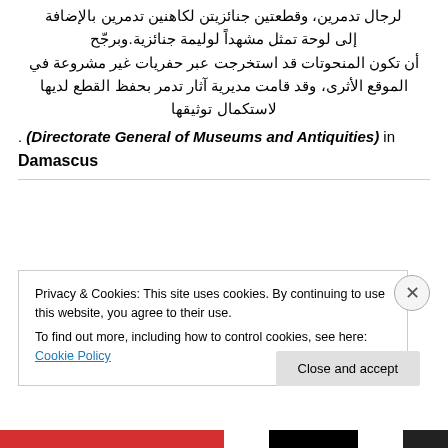لرجال تدمرين، وقطعتين جنائزيتن لكاهنين تدمرين بالإضافة إلى لوحة تمثل مشهداً لوليمة جنائزية.وبرجّح أن تكون المنحوتات قد استخرجت عبر حفريات غير مشروعة في الموقع الأثرى، وقد قامت مديرية آثار تدمر بحفظ القطع لديها لاستكمال توثيقها
. (Directorate General of Museums and Antiquities) in Damascus
Privacy & Cookies: This site uses cookies. By continuing to use this website, you agree to their use.
To find out more, including how to control cookies, see here: Cookie Policy